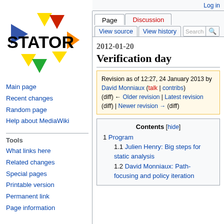Log in
[Figure (logo): STATOR wiki logo with colored triangles]
Main page
Recent changes
Random page
Help about MediaWiki
Tools
What links here
Related changes
Special pages
Printable version
Permanent link
Page information
2012-01-20 Verification day
Revision as of 12:27, 24 January 2013 by David Monniaux (talk | contribs)
(diff) ← Older revision | Latest revision (diff) | Newer revision → (diff)
Contents [hide]
1 Program
1.1 Julien Henry: Big steps for static analysis
1.2 David Monniaux: Path-focusing and policy iteration